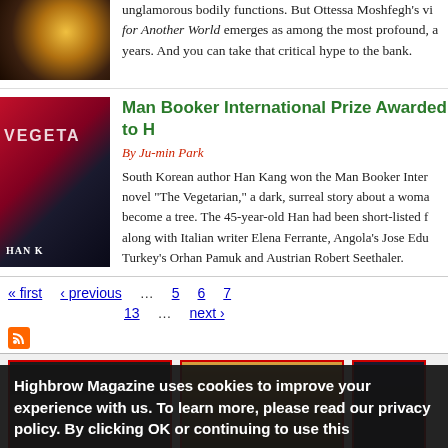unglamorous bodily functions. But Ottessa Moshfegh's vi... for Another World emerges as among the most profound, a... years. And you can take that critical hype to the bank.
[Figure (photo): Dark image of sparkling lights, golden tones on black background]
Man Booker International Prize Awarded to H...
By Ju-min Park
South Korean author Han Kang won the Man Booker Inter... novel "The Vegetarian," a dark, surreal story about a woma... become a tree. The 45-year-old Han had been short-listed f... along with Italian writer Elena Ferrante, Angola's Jose Edu... Turkey's Orhan Pamuk and Austrian Robert Seethaler.
[Figure (photo): Book cover for The Vegetarian by Han Kang, dark red/crimson background with figure and text]
« first
‹ previous
…
5
6
7
13
…
next ›
[Figure (photo): RSS feed icon, orange square]
[Figure (photo): Three thumbnail images in a row at the bottom of the page]
Highbrow Magazine uses cookies to improve your experience with us. To learn more, please read our privacy policy. By clicking OK or continuing to use this